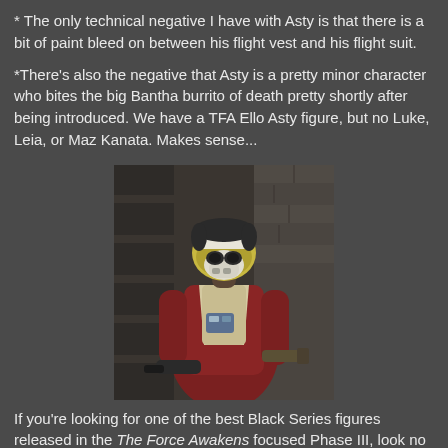* The only technical negative I have with Asty is that there is a bit of paint bleed on between his flight vest and his flight suit.
*There's also the negative that Asty is a pretty minor character who bites the big Bantha burrito of death pretty shortly after being introduced. We have a TFA Ello Asty figure, but no Luke, Leia, or Maz Kanata. Makes sense...
[Figure (photo): Photo of an Ello Asty Star Wars Black Series action figure wearing a red flight suit and white/yellow helmet, holding a weapon, posed against a stone/brick background]
If you're looking for one of the best Black Series figures released in the The Force Awakens focused Phase III, look no further than Ello Asty. This guy is an incredible figure that